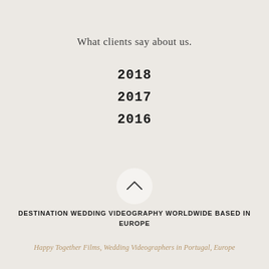What clients say about us.
2018
2017
2016
[Figure (other): A circular white button with an upward-pointing chevron (caret) icon in the center]
DESTINATION WEDDING VIDEOGRAPHY WORLDWIDE BASED IN EUROPE
Happy Together Films, Wedding Videographers in Portugal, Europe